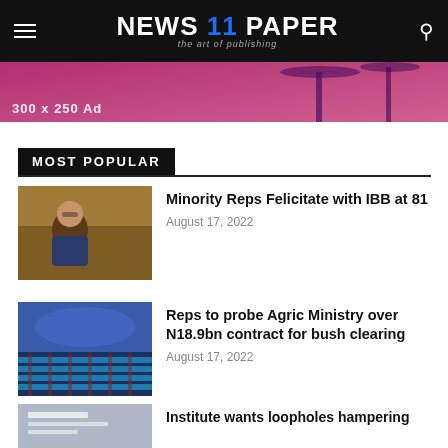NEWS 11 PAPER — the art of publishing
[Figure (photo): Ad banner with palm trees silhouette on pink/purple background, text '300 x 250 Ad']
MOST POPULAR
[Figure (photo): Elderly man seated at a desk in an indoor setting]
Minority Reps Felicitate with IBB at 81
August 17, 2022
[Figure (photo): Legislative chamber with rows of blue seats]
Reps to probe Agric Ministry over N18.9bn contract for bush clearing
August 17, 2022
[Figure (photo): Partially visible image at bottom of page]
Institute wants loopholes hampering